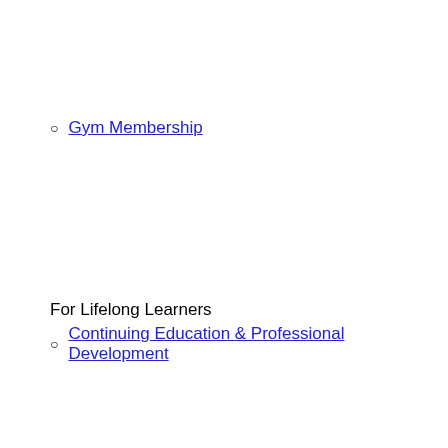Gym Membership
For Lifelong Learners
Continuing Education & Professional Development